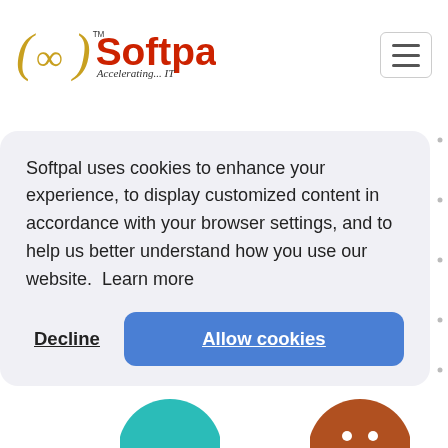[Figure (logo): Softpal logo with infinity symbol and text 'Softpal Accelerating... IT']
[Figure (other): Hamburger menu button (three horizontal lines) in top right corner]
[Figure (other): Dotted grid background pattern in white area below header]
Softpal uses cookies to enhance your experience, to display customized content in accordance with your browser settings, and to help us better understand how you use our website.  Learn more
Decline
Allow cookies